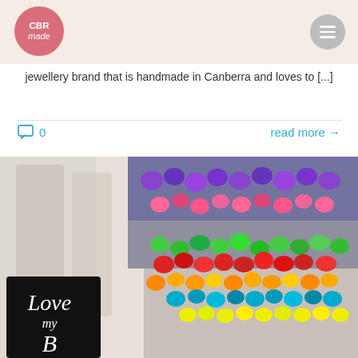[Figure (logo): CBRmade logo - pink circle with white text 'CBR made']
[Figure (other): Hamburger menu icon in grey circle]
jewellery brand that is handmade in Canberra and loves to [...]
0
read more →
[Figure (photo): Photo of colorful beaded bracelets/jewelry displayed in a market stall, with a black sign reading 'Love my Brand' in white script text in the lower left foreground]